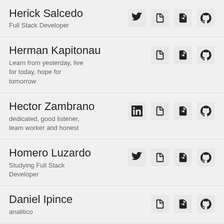Herick Salcedo
Full Stack Developer
Herman Kapitonau
Learn from yesterday, live for today, hope for tomorrow
Hector Zambrano
dedicated, good listener, team worker and honest
Homero Luzardo
Studying Full Stack Developer
Daniel Ipince
analitico
Iñaki Errands...